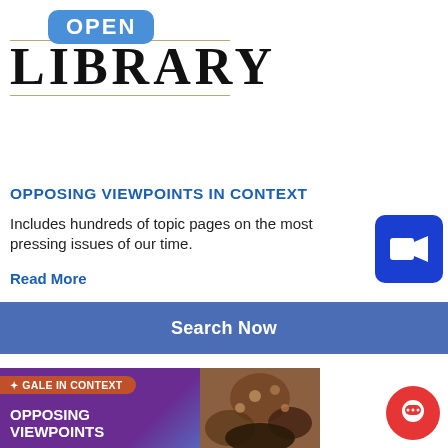[Figure (logo): Open Library logo with blue 'OPEN' badge and large serif 'LIBRARY' text with horizontal lines]
OPPOSING VIEWPOINTS IN CONTEXT
Includes hundreds of topic pages on the most pressing issues of our time.
Read More
[Figure (other): Blue video camera button icon]
Search Now
[Figure (other): Gale in Context: Opposing Viewpoints database card with photo of crowd]
[Figure (other): Red circular chat button]